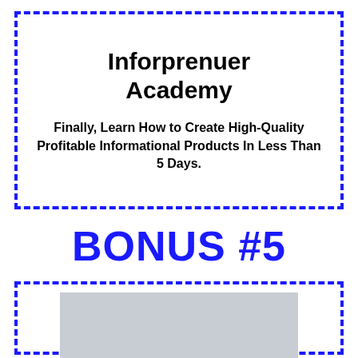Inforprenuer Academy
Finally, Learn How to Create High-Quality Profitable Informational Products In Less Than 5 Days.
BONUS #5
[Figure (other): Gray placeholder image rectangle inside a dashed blue border box]